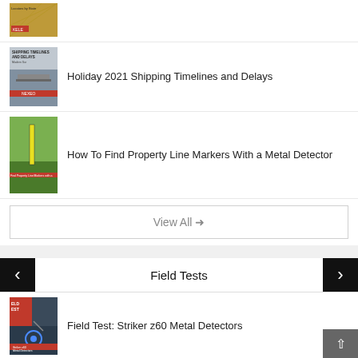Holiday 2021 Shipping Timelines and Delays
How To Find Property Line Markers With a Metal Detector
View All →
Field Tests
Field Test: Striker z60 Metal Detectors